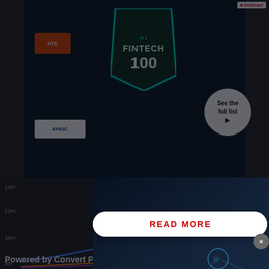[Figure (screenshot): AI Fintech 100 promotional banner with cards and 'See the full list' circular button]
[Figure (photo): Dark blue modal overlay showing a person with technology/network icons floating, with a READ MORE button at the bottom and a close (x) button]
READ MORE
Latest
Top 5 m... (number... 2022
14m
12m
10m
12.6m
9.8m
9.1m
[Figure (line-chart): Partial line chart showing fintech user growth trends with multiple colored lines]
Powered by Convert Pro